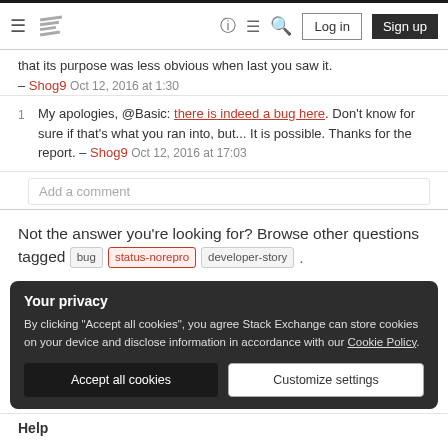Stack Exchange navigation header with logo, help, chat, search, Log in and Sign up buttons
that its purpose was less obvious when last you saw it. – Shog9 Oct 12, 2016 at 1:30
1  My apologies, @Basic: there is indeed a bug here. Don't know for sure if that's what you ran into, but... It is possible. Thanks for the report. – Shog9 Oct 12, 2016 at 17:03
Add a comment
Not the answer you're looking for? Browse other questions tagged bug status-norepro developer-story .
Your privacy
By clicking "Accept all cookies", you agree Stack Exchange can store cookies on your device and disclose information in accordance with our Cookie Policy.
Accept all cookies
Customize settings
Help